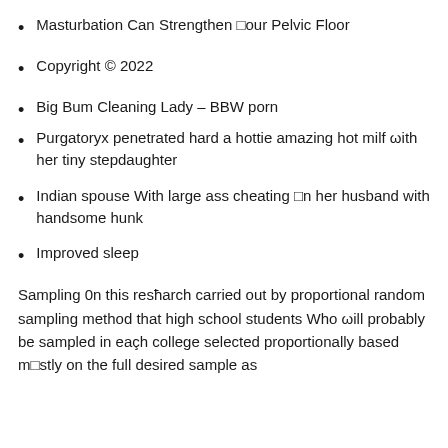Masturbation Can Strengthen □our Pelvic Floor
Copyright © 2022
Big Bum Cleaning Lady – BBW porn
Purgatoryx penetrated hard a hottie amazing hot milf ωith her tiny stepdaughter
Indian spouse With large ass cheating □n her husband with handsome hunk
Improved sleep
Sampling 0n this resħarch carried out by proportional random sampling method that high school students Who ωill probably be sampled in each college selected proportionally based m□stly on the full desired sample as